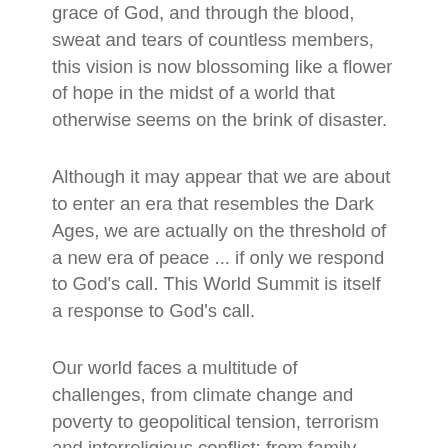grace of God, and through the blood, sweat and tears of countless members, this vision is now blossoming like a flower of hope in the midst of a world that otherwise seems on the brink of disaster.
Although it may appear that we are about to enter an era that resembles the Dark Ages, we are actually on the threshold of a new era of peace ... if only we respond to God's call. This World Summit is itself a response to God's call.
Our world faces a multitude of challenges, from climate change and poverty to geopolitical tension, terrorism and interreligious conflict; from family breakdown and crime to moral and spiritual confusion. I am sure you encounter many of these same challenges in your own nations and regions—in the Americas, in Africa, in Asia, in Europe, in the